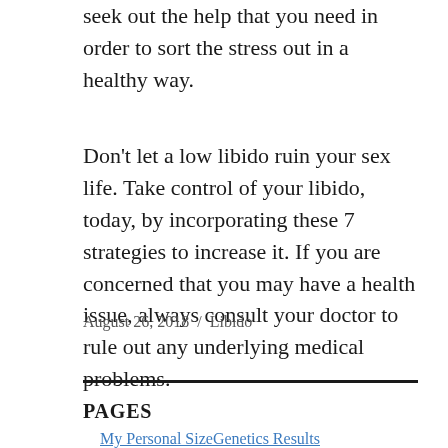seek out the help that you need in order to sort the stress out in a healthy way.
Don’t let a low libido ruin your sex life. Take control of your libido, today, by incorporating these 7 strategies to increase it. If you are concerned that you may have a health issue, always consult your doctor to rule out any underlying medical problems.
August 26, 2018 / Libido
PAGES
My Personal SizeGenetics Results